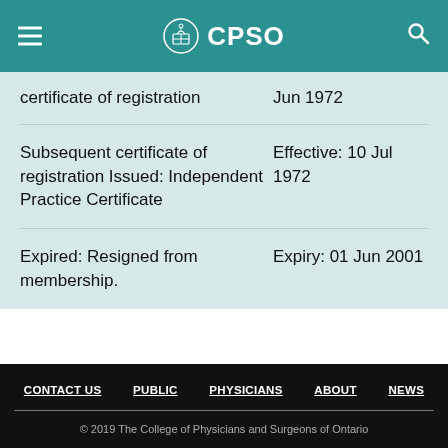CPSO
| Description | Date |
| --- | --- |
| certificate of registration | Jun 1972 |
| Subsequent certificate of registration Issued: Independent Practice Certificate | Effective: 10 Jul 1972 |
| Expired: Resigned from membership. | Expiry: 01 Jun 2001 |
CONTACT US | PUBLIC | PHYSICIANS | ABOUT | NEWS
© 2019 The College of Physicians and Surgeons of Ontario